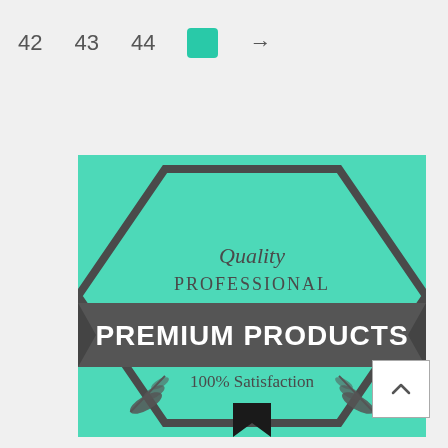42  43  44  →
[Figure (logo): Premium Products badge/logo on teal background. Hexagonal border shape in dark gray. Inside: 'Quality' in gray serif, 'PROFESSIONAL' in gray serif, a dark gray banner ribbon with 'PREMIUM PRODUCTS' in bold white text, '100% Satisfaction' in dark gray, two wheat/feather decorative elements, and a black bookmark/ribbon icon at the bottom center.]